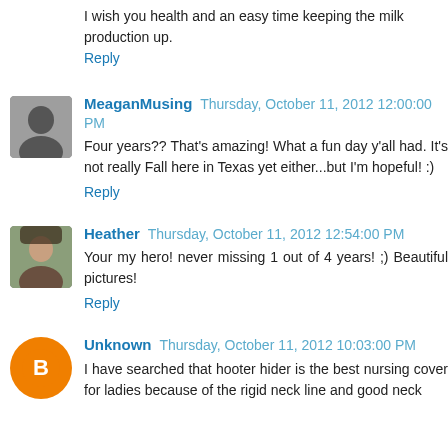I wish you health and an easy time keeping the milk production up.
Reply
MeaganMusing  Thursday, October 11, 2012 12:00:00 PM
Four years?? That's amazing! What a fun day y'all had. It's not really Fall here in Texas yet either...but I'm hopeful! :)
Reply
Heather  Thursday, October 11, 2012 12:54:00 PM
Your my hero! never missing 1 out of 4 years! ;) Beautiful pictures!
Reply
Unknown  Thursday, October 11, 2012 10:03:00 PM
I have searched that hooter hider is the best nursing cover for ladies because of the rigid neck line and good neck